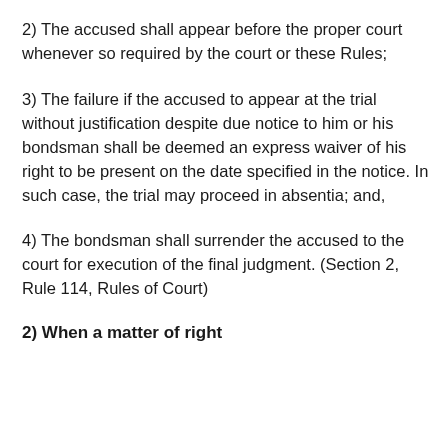2) The accused shall appear before the proper court whenever so required by the court or these Rules;
3) The failure if the accused to appear at the trial without justification despite due notice to him or his bondsman shall be deemed an express waiver of his right to be present on the date specified in the notice. In such case, the trial may proceed in absentia; and,
4) The bondsman shall surrender the accused to the court for execution of the final judgment. (Section 2, Rule 114, Rules of Court)
2) When a matter of right